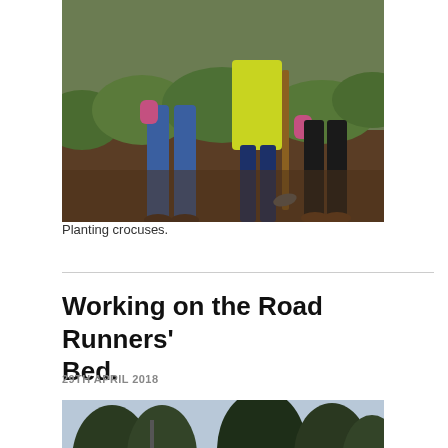[Figure (photo): Two people planting crocuses, one wearing a high-visibility yellow vest, both bending over soil with a spade, greenery in background]
Planting crocuses.
Working on the Road Runners' Bed.
29TH APRIL 2018
[Figure (photo): Group of volunteers in high-visibility yellow vests working on a roadside flower bed near a roundabout with trees and a stop sign in the background]